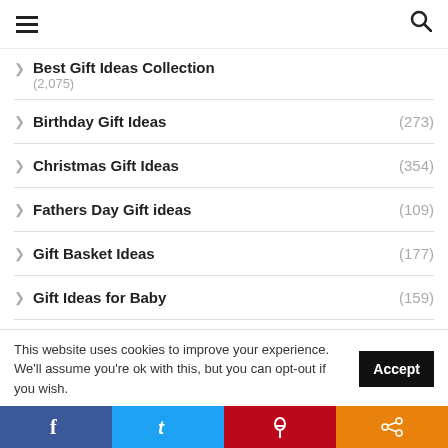Navigation bar with hamburger menu and search icon
Best Gift Ideas Collection (2,075)
Birthday Gift Ideas (273)
Christmas Gift Ideas (354)
Fathers Day Gift ideas (109)
Gift Basket Ideas (177)
Gift Ideas for Baby (159)
Gift Ideas for Boyfriend (105)
This website uses cookies to improve your experience. We'll assume you're ok with this, but you can opt-out if you wish.
Social share bar: Facebook, Twitter, Pinterest, Share